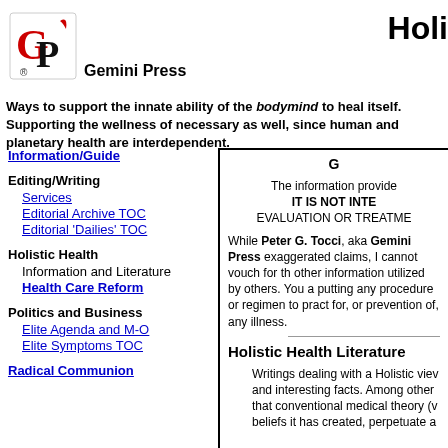[Figure (logo): Gemini Press logo with stylized G and P letters in red and black]
Holi
Gemini Press
Ways to support the innate ability of the bodymind to heal itself. Supporting the wellness of necessary as well, since human and planetary health are interdependent.
Information/Guide
Editing/Writing
Services
Editorial Archive TOC
Editorial 'Dailies' TOC
Holistic Health
Information and Literature
Health Care Reform
Politics and Business
Elite Agenda and M-O
Elite Symptoms TOC
Radical Communion
G
The information provide IT IS NOT INTE EVALUATION OR TREATME
While Peter G. Tocci, aka Gemini Press exaggerated claims, I cannot vouch for th other information utilized by others. You a putting any procedure or regimen to pract for, or prevention of, any illness.
Holistic Health Literature
Writings dealing with a Holistic viev and interesting facts. Among other that conventional medical theory (v beliefs it has created, perpetuate a